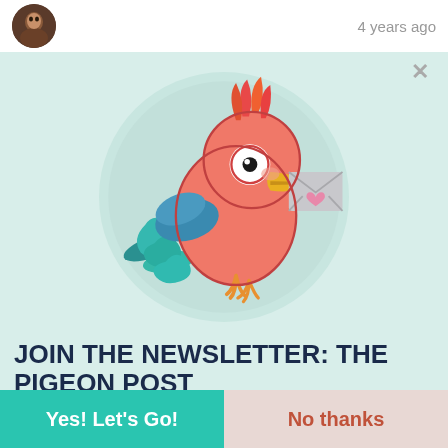4 years ago
[Figure (illustration): Cartoon parrot/pigeon holding an envelope with a heart on it, sitting in a light teal circle. The bird is coral/pink with blue-green tail feathers and a yellow beak.]
JOIN THE NEWSLETTER: THE PIGEON POST
You'll receive travel stories, blogging tips, free resources, and Rocky's new posts!
Yes! Let's Go!
No thanks